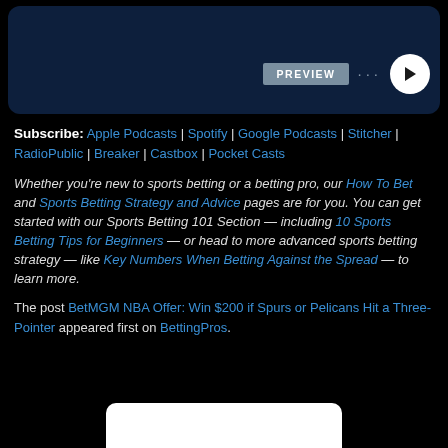[Figure (screenshot): Podcast player UI with dark navy background, PREVIEW button, three dots menu, and white circular play button]
Subscribe: Apple Podcasts | Spotify | Google Podcasts | Stitcher | RadioPublic | Breaker | Castbox | Pocket Casts
Whether you're new to sports betting or a betting pro, our How To Bet and Sports Betting Strategy and Advice pages are for you. You can get started with our Sports Betting 101 Section — including 10 Sports Betting Tips for Beginners — or head to more advanced sports betting strategy — like Key Numbers When Betting Against the Spread — to learn more.
The post BetMGM NBA Offer: Win $200 if Spurs or Pelicans Hit a Three-Pointer appeared first on BettingPros.
[Figure (screenshot): White card/thumbnail at bottom of page on black background]